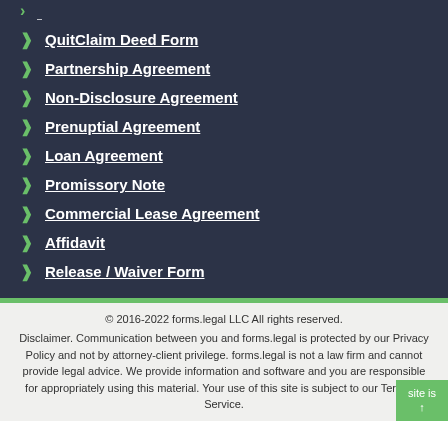QuitClaim Deed Form
Partnership Agreement
Non-Disclosure Agreement
Prenuptial Agreement
Loan Agreement
Promissory Note
Commercial Lease Agreement
Affidavit
Release / Waiver Form
© 2016-2022 forms.legal LLC All rights reserved. Disclaimer. Communication between you and forms.legal is protected by our Privacy Policy and not by attorney-client privilege. forms.legal is not a law firm and cannot provide legal advice. We provide information and software and you are responsible for appropriately using this material. Your use of this site is subject to our Terms of Service.